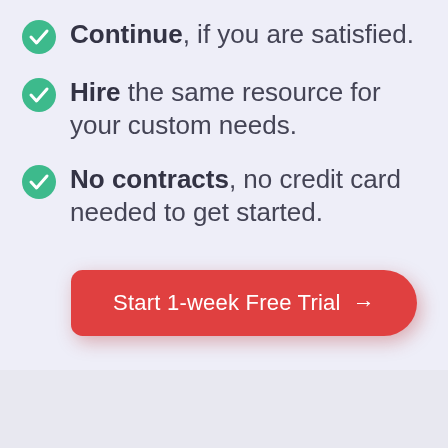Continue, if you are satisfied.
Hire the same resource for your custom needs.
No contracts, no credit card needed to get started.
[Figure (other): Red CTA button with rounded corners and text 'Start 1-week Free Trial →']